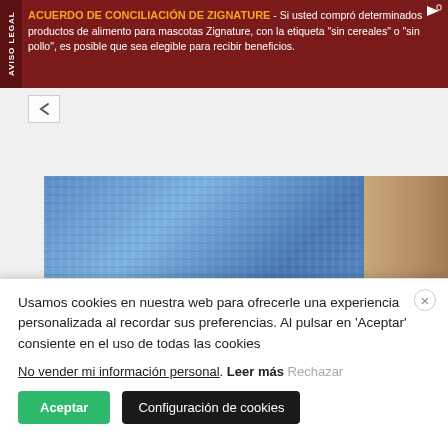[Figure (screenshot): Advertisement banner with dark red background. Left sidebar reads 'AVISO LEGAL' vertically. Text in orange bold: 'ACUERDO DE CONCILIACIÓN DE ZIGNATURE' followed by white text: '- Si usted compró determinados productos de alimento para mascotas Zignature, con la etiqueta "sin cereales" o "sin pollo", es posible que sea elegible para recibir beneficios.']
[Figure (photo): Photo of blue knitted fabric swatch on a wooden surface, with a black bar below it.]
[Figure (screenshot): Video thumbnail with black background, circular logo icon on left, and partially visible italic text 'Punto Escames de Passalatji...' in grey.]
Usamos cookies en nuestra web para ofrecerle una experiencia personalizada al recordar sus preferencias. Al pulsar en 'Aceptar' consiente en el uso de todas las cookies
No vender mi información personal. Leer más Rechazar
Aceptar   Configuración de cookies